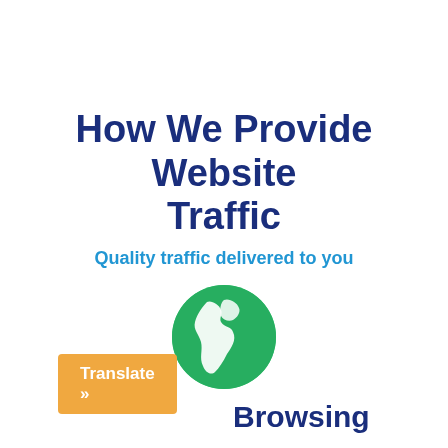How We Provide Website Traffic
Quality traffic delivered to you
[Figure (illustration): Green globe/earth icon showing the Americas continent in white on a green circular background]
Browsing
Translate »